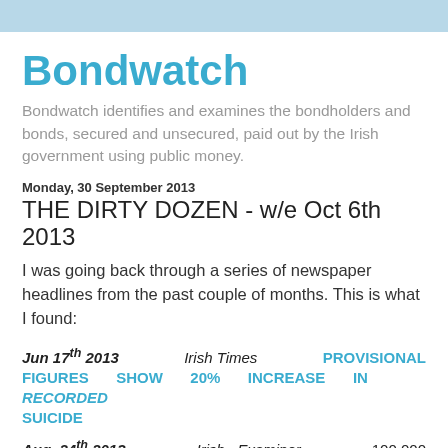Bondwatch
Bondwatch identifies and examines the bondholders and bonds, secured and unsecured, paid out by the Irish government using public money.
Monday, 30 September 2013
THE DIRTY DOZEN - w/e Oct 6th 2013
I was going back through a series of newspaper headlines from the past couple of months. This is what I found:
Jun 17th 2013   Irish Times   PROVISIONAL FIGURES SHOW 20% INCREASE IN RECORDED SUICIDE
Aug 24th 2013   Irish Examiner   100,000 MORTGAGES OVER 3 MONTHS IN ARREARS